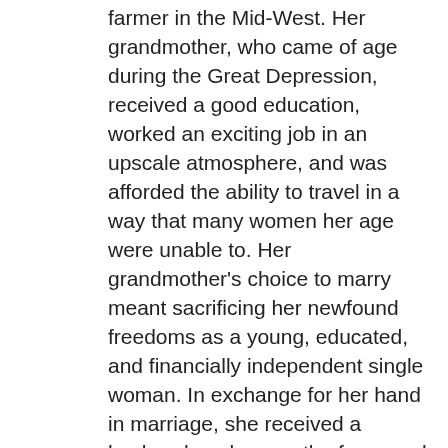farmer in the Mid-West. Her grandmother, who came of age during the Great Depression, received a good education, worked an exciting job in an upscale atmosphere, and was afforded the ability to travel in a way that many women her age were unable to. Her grandmother's choice to marry meant sacrificing her newfound freedoms as a young, educated, and financially independent single woman. In exchange for her hand in marriage, she received a husband, a place on the farm, and assumed the role of housekeeper, cook to her family and the farmhands, and mother to seven children. Her life was hard and required her to give up much to support her children and her family. But was it worth it? This conversation between Gilbert and her grandmother offers a very interesting perspective into what it means for a woman (of any generation really) to get married